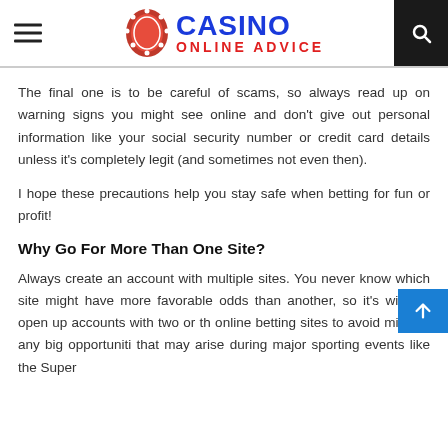CASINO ONLINE ADVICE
The final one is to be careful of scams, so always read up on warning signs you might see online and don't give out personal information like your social security number or credit card details unless it's completely legit (and sometimes not even then).
I hope these precautions help you stay safe when betting for fun or profit!
Why Go For More Than One Site?
Always create an account with multiple sites. You never know which site might have more favorable odds than another, so it's wise to open up accounts with two or th online betting sites to avoid missing any big opportuniti that may arise during major sporting events like the Super